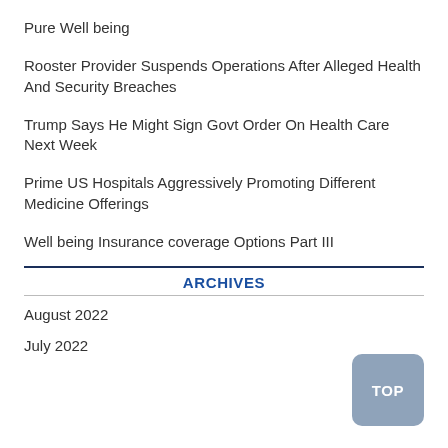Pure Well being
Rooster Provider Suspends Operations After Alleged Health And Security Breaches
Trump Says He Might Sign Govt Order On Health Care Next Week
Prime US Hospitals Aggressively Promoting Different Medicine Offerings
Well being Insurance coverage Options Part III
ARCHIVES
August 2022
July 2022